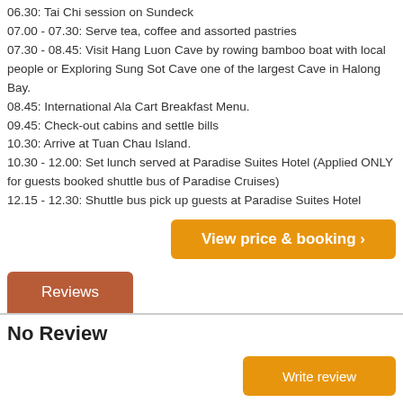06.30: Tai Chi session on Sundeck
07.00 - 07.30: Serve tea, coffee and assorted pastries
07.30 - 08.45: Visit Hang Luon Cave by rowing bamboo boat with local people or Exploring Sung Sot Cave one of the largest Cave in Halong Bay.
08.45: International Ala Cart Breakfast Menu.
09.45: Check-out cabins and settle bills
10.30: Arrive at Tuan Chau Island.
10.30 - 12.00: Set lunch served at Paradise Suites Hotel (Applied ONLY for guests booked shuttle bus of Paradise Cruises)
12.15 - 12.30: Shuttle bus pick up guests at Paradise Suites Hotel
View price & booking >
Reviews
No Review
Write review